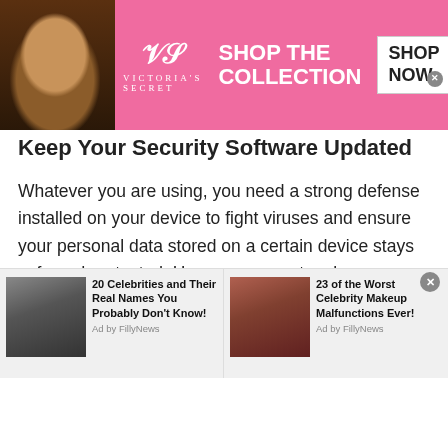[Figure (screenshot): Victoria's Secret advertisement banner with pink background, model photo on left, VS logo in center, 'SHOP THE COLLECTION' text, and 'SHOP NOW' button on right]
Keep Your Security Software Updated
Whatever you are using, you need a strong defense installed on your device to fight viruses and ensure your personal data stored on a certain device stays safe and protected. Hence, you must make sure your software or security features are always up to date. Do not delay installing the latest versions because these will be your main defense against any virus that you might encounter while using a platform for Kenyan Singles Chat .
[Figure (screenshot): Bottom ad bar with two celebrity news ads: '20 Celebrities and Their Real Names You Probably Don't Know!' and '23 of the Worst Celebrity Makeup Malfunctions Ever!' both 'Ad by FillyNews']